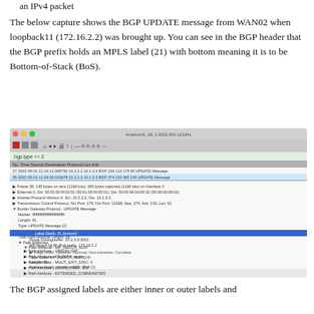an IPv4 packet
The below capture shows the BGP UPDATE message from WAN02 when loopback11 (172.16.2.2) was brought up. You can see in the BGP header that the BGP prefix holds an MPLS label (21) with bottom meaning it is to be Bottom-of-Stack (BoS).
[Figure (screenshot): Wireshark packet capture screenshot showing BGP UPDATE message details. A packet list shows two BGP UPDATE Message entries. The packet details panel shows the Border Gateway Protocol UPDATE Message decoded fields including Path Attribute MP_REACH_NLRI with Label Stack: 21 (bottom) highlighted in blue, Route Distinguisher 10.2.3.3:3001, and MP Reach NLRI IPv4 prefix 172.16.2.2.]
The BGP assigned labels are either inner or outer labels and